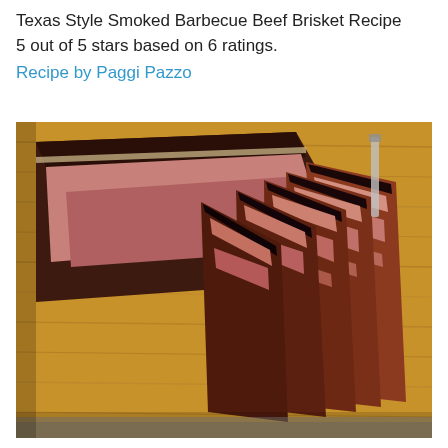Texas Style Smoked Barbecue Beef Brisket Recipe
5 out of 5 stars based on 6 ratings.
Recipe by Paggi Pazzo
[Figure (photo): Sliced Texas style smoked barbecue beef brisket on a wooden cutting board. The brisket shows a dark bark exterior with pink smoke ring interior. Multiple slices are fanned out beside the main unsliced portion.]